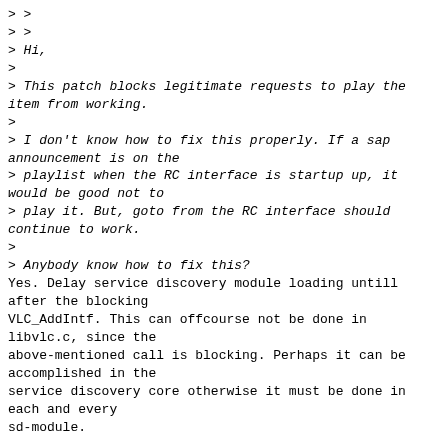> >
> >
> Hi,
>
> This patch blocks legitimate requests to play the item from working.
>
> I don't know how to fix this properly. If a sap announcement is on the
> playlist when the RC interface is startup up, it would be good not to
> play it. But, goto from the RC interface should continue to work.
>
> Anybody know how to fix this?
Yes. Delay service discovery module loading untill after the blocking
VLC_AddIntf. This can offcourse not be done in libvlc.c, since the
above-mentioned call is blocking. Perhaps it can be accomplished in the
service discovery core otherwise it must be done in each and every
sd-module.

Sigmund
>
>
> Dermot.
> --
>